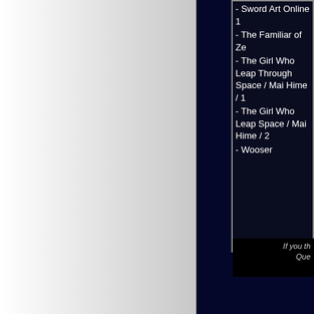- Sword Art Online 1
- The Familiar of Zero
- The Girl Who Leapt Through Space / Mai Hime / 1
- The Girl Who Leapt Through Space / Mai Hime / 2
- Wooser
If you th... Que...